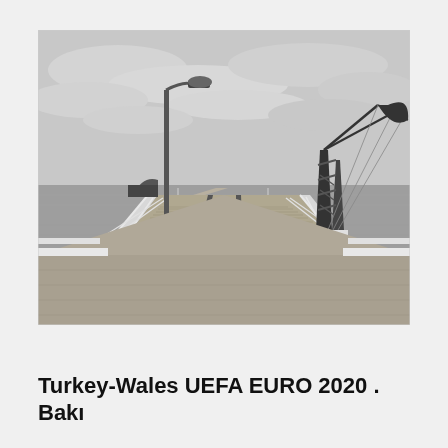[Figure (photo): Black and white photograph of a long wooden pier/jetty extending toward the horizon over calm water. On the left side is a tall street lamp. On the right side is a large metal lattice tower/mast structure with a weather vane or antenna arm extending diagonally. White railings line both sides of the wooden boardwalk. Overcast sky above.]
Turkey-Wales UEFA EURO 2020 . Bakı